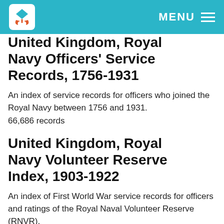MENU
United Kingdom, Royal Navy Officers' Service Records, 1756-1931
An index of service records for officers who joined the Royal Navy between 1756 and 1931. 66,686 records
United Kingdom, Royal Navy Volunteer Reserve Index, 1903-1922
An index of First World War service records for officers and ratings of the Royal Naval Volunteer Reserve (RNVR). 59,784 records